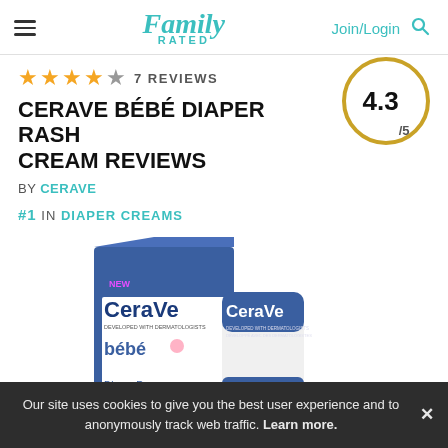Family Rated — Join/Login
★★★★☆ 7 REVIEWS
CERAVE BÉBÉ DIAPER RASH CREAM REVIEWS
4.3/5
BY CERAVE
#1 IN DIAPER CREAMS
[Figure (photo): CeraVe bébé Diaper Rash Cream product packaging — box and tube shown together]
Our site uses cookies to give you the best user experience and to anonymously track web traffic. Learn more. ✕